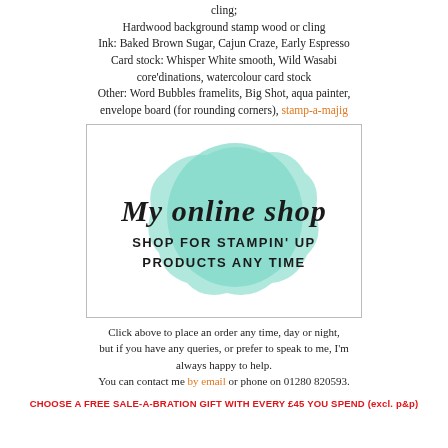cling; Hardwood background stamp wood or cling Ink: Baked Brown Sugar, Cajun Craze, Early Espresso Card stock: Whisper White smooth, Wild Wasabi core'dinations, watercolour card stock Other: Word Bubbles framelits, Big Shot, aqua painter, envelope board (for rounding corners), stamp-a-majig
[Figure (illustration): My online shop banner - Shop for Stampin' Up products any time, with a teal cloud/blob shape behind the text]
Click above to place an order any time, day or night, but if you have any queries, or prefer to speak to me, I'm always happy to help. You can contact me by email or phone on 01280 820593.
CHOOSE A FREE SALE-A-BRATION GIFT WITH EVERY £45 YOU SPEND (excl. p&p)